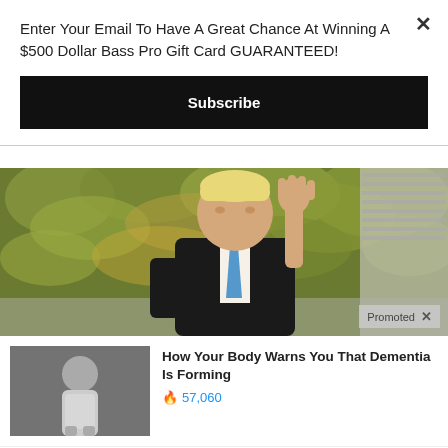Enter Your Email To Have A Great Chance At Winning A $500 Dollar Bass Pro Gift Card GUARANTEED!
Subscribe
[Figure (photo): Man in dark suit with blue tie waving hand in front of leafy green/orange hedge background]
Promoted X
How Your Body Warns You That Dementia Is Forming 57,060
How To Lose 40.5 Lbs In A Month (Eat This Once Every Day) 18,143